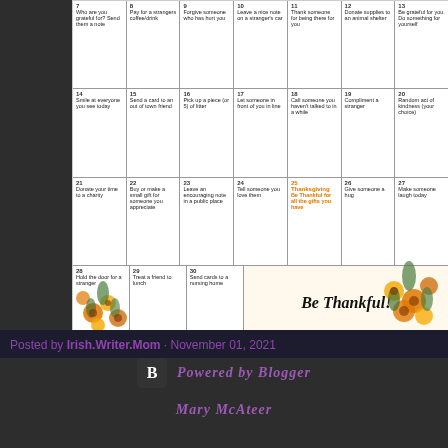[Figure (other): A November kindness calendar with floral decorations and 'Be Thankful!' text. Contains daily acts of kindness for each day of November, with Thanksgiving highlighted in orange.]
Posted by Irish.Writer.Mom · November 01, 2021
SPRINKLE KINDNESS LIKE CONFETTI!
Share    3 comments
Powered by Blogger
Mary McAteer